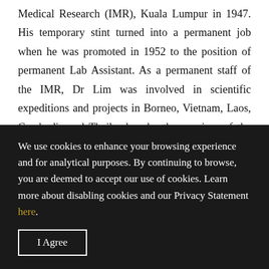Medical Research (IMR), Kuala Lumpur in 1947. His temporary stint turned into a permanent job when he was promoted in 1952 to the position of permanent Lab Assistant. As a permanent staff of the IMR, Dr Lim was involved in scientific expeditions and projects in Borneo, Vietnam, Laos, Cambodia and Thailand under the auspices of the Bishop Museum, University of Hawaii that focused on the study of parasites and small mammals. He also had the opportunity, during this time, to help start the National Zoo, working together with such notable people as the late Tan Sri V M Hutson and the late
We use cookies to enhance your browsing experience and for analytical purposes. By continuing to browse, you are deemed to accept our use of cookies. Learn more about disabling cookies and our Privacy Statement here.